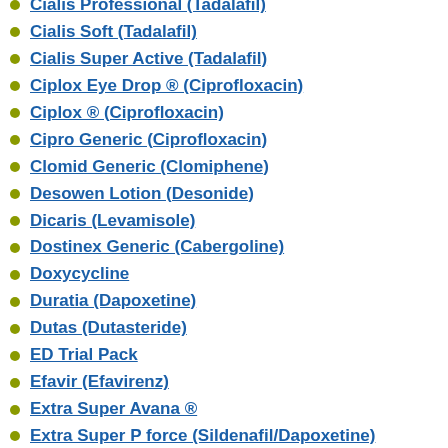Cialis Professional (Tadalafil)
Cialis Soft (Tadalafil)
Cialis Super Active (Tadalafil)
Ciplox Eye Drop ® (Ciprofloxacin)
Ciplox ® (Ciprofloxacin)
Cipro Generic (Ciprofloxacin)
Clomid Generic (Clomiphene)
Desowen Lotion (Desonide)
Dicaris (Levamisole)
Dostinex Generic (Cabergoline)
Doxycycline
Duratia (Dapoxetine)
Dutas (Dutasteride)
ED Trial Pack
Efavir (Efavirenz)
Extra Super Avana ®
Extra Super P force (Sildenafil/Dapoxetine)
Extra Super Tadarise (Tadalafil/Depoxetine)
Extra Super Zhewitra (Vardenafil/Dapoxetine)
Faceclin (Clindamycin/Nicotinamide)
Female Viagra
Femalegra (Sildenafil)
Filagra Pink (Sildenafil Citrate)